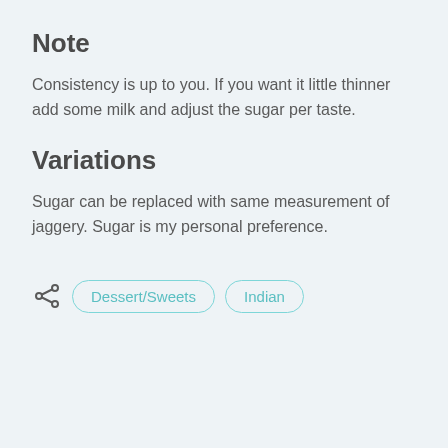Note
Consistency is up to you. If you want it little thinner add some milk and adjust the sugar per taste.
Variations
Sugar can be replaced with same measurement of jaggery. Sugar is my personal preference.
Dessert/Sweets  Indian